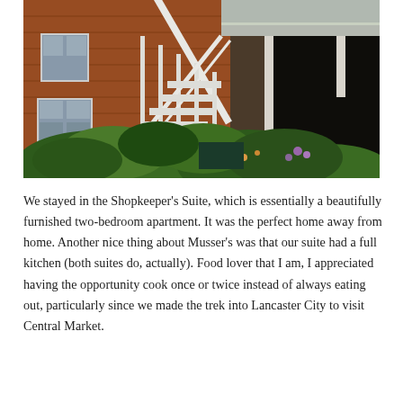[Figure (photo): Exterior photo of a red brick building with a white wooden staircase/railing leading up to a deck or upper level. Lush green garden plants and flowers are visible in the foreground and middle ground. A covered structure or carport is visible on the right side. The scene appears to be the back or side yard of a historic property.]
We stayed in the Shopkeeper's Suite, which is essentially a beautifully furnished two-bedroom apartment. It was the perfect home away from home. Another nice thing about Musser's was that our suite had a full kitchen (both suites do, actually). Food lover that I am, I appreciated having the opportunity cook once or twice instead of always eating out, particularly since we made the trek into Lancaster City to visit Central Market.